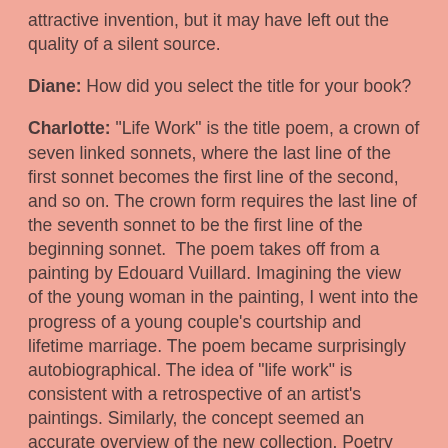attractive invention, but it may have left out the quality of a silent source.
Diane: How did you select the title for your book?
Charlotte: “Life Work” is the title poem, a crown of seven linked sonnets, where the last line of the first sonnet becomes the first line of the second, and so on. The crown form requires the last line of the seventh sonnet to be the first line of the beginning sonnet.  The poem takes off from a painting by Edouard Vuillard. Imagining the view of the young woman in the painting, I went into the progress of a young couple’s courtship and lifetime marriage. The poem became surprisingly autobiographical. The idea of “life work” is consistent with a retrospective of an artist’s paintings. Similarly, the concept seemed an accurate overview of the new collection. Poetry and life are intertwined in my book.
Diane: Tell us the story behind your cover.
Charlotte: My son-in-law, Vincent Covello, has created a marvelous garden at their country home in Long Island and